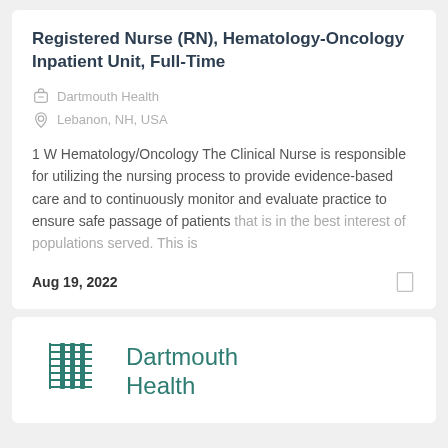Registered Nurse (RN), Hematology-Oncology Inpatient Unit, Full-Time
Dartmouth Health
Lebanon, NH, USA
1 W Hematology/Oncology The Clinical Nurse is responsible for utilizing the nursing process to provide evidence-based care and to continuously monitor and evaluate practice to ensure safe passage of patients that is in the best interest of populations served. This is
Aug 19, 2022
[Figure (logo): Dartmouth Health logo with green grid/bar icon and company name text]